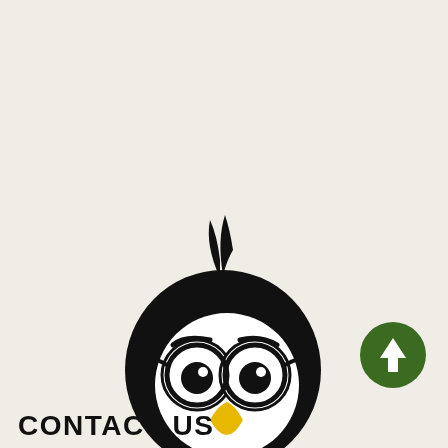[Figure (illustration): Cartoon penguin mascot wearing round glasses and a green bow tie, holding a tablet/smartphone displaying the AES logo. The penguin is black and white with yellow feet and beak, standing on a gray oval shadow.]
[Figure (other): Green circular button with a white upward arrow, positioned in the lower right area of the page.]
CONTACT US